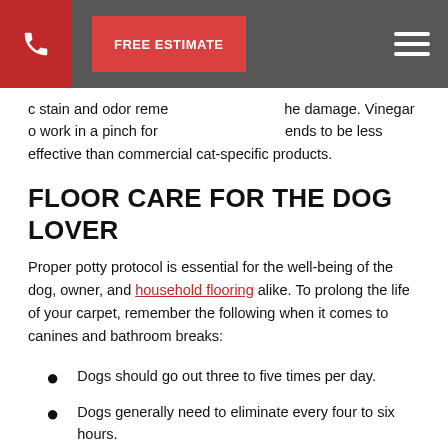Navigation bar with phone button, FREE ESTIMATE button, and hamburger menu
c stain and odor reme... he damage. Vinegar o work in a pinch for ... ends to be less effective than commercial cat-specific products.
FLOOR CARE FOR THE DOG LOVER
Proper potty protocol is essential for the well-being of the dog, owner, and household flooring alike. To prolong the life of your carpet, remember the following when it comes to canines and bathroom breaks:
Dogs should go out three to five times per day.
Dogs generally need to eliminate every four to six hours.
During the potty training process, puppies should be let outside every 2 hours.